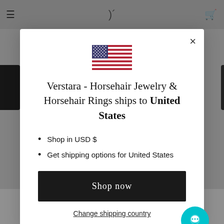[Figure (screenshot): Background of a website (Verstara Horsehair Jewelry) with dimmed grey overlay, showing navigation bar at top and large bold text 'community!' at bottom]
[Figure (illustration): US flag SVG icon centered in modal]
Verstara - Horsehair Jewelry & Horsehair Rings ships to United States
Shop in USD $
Get shipping options for United States
Shop now
Change shipping country